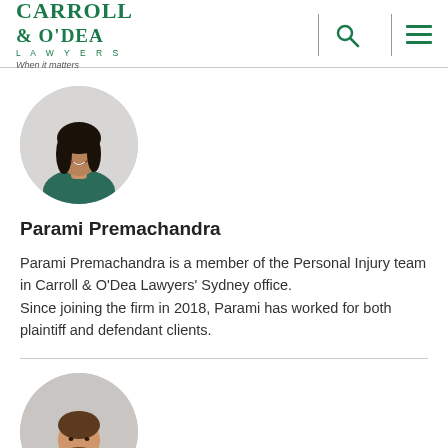CARROLL & O'DEA LAWYERS — When it matters
[Figure (photo): Circular profile photo of Parami Premachandra, a young woman with long dark hair wearing a teal/dark green top, smiling, on a light grey background]
Parami Premachandra
Parami Premachandra is a member of the Personal Injury team in Carroll & O'Dea Lawyers' Sydney office. Since joining the firm in 2018, Parami has worked for both plaintiff and defendant clients.
[Figure (photo): Circular profile photo of a man with brown hair and beard, partially visible at bottom of page, on a light grey background]